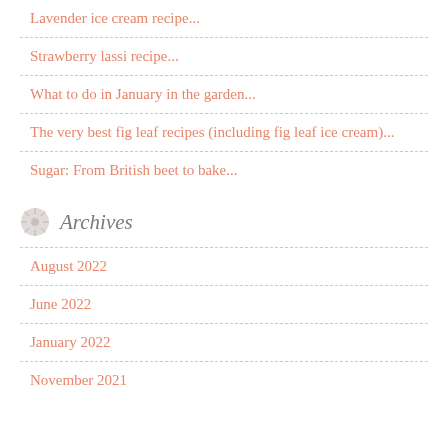Lavender ice cream recipe...
Strawberry lassi recipe...
What to do in January in the garden...
The very best fig leaf recipes (including fig leaf ice cream)...
Sugar: From British beet to bake...
Archives
August 2022
June 2022
January 2022
November 2021